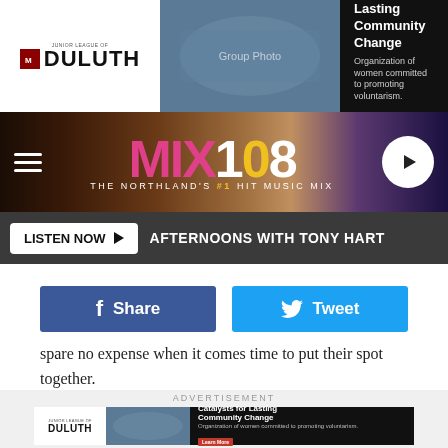[Figure (screenshot): Top advertisement banner for Junior League of Duluth - Catalysts for Lasting Community Change]
[Figure (logo): MIX108 radio station logo - The Northland's #1 Hit Music Mix]
LISTEN NOW ▶  AFTERNOONS WITH TONY HART
[Figure (screenshot): Facebook Share and Twitter Tweet social sharing buttons]
spare no expense when it comes time to put their spot together.
Whether silly and outrageous or serious and emotional, the best commercials always leave a lasting impression on the millions who are watching.
ADVERTISEMENT
[Figure (screenshot): Bottom advertisement banner for Junior League of Duluth - Catalysts for Lasting Community Change]